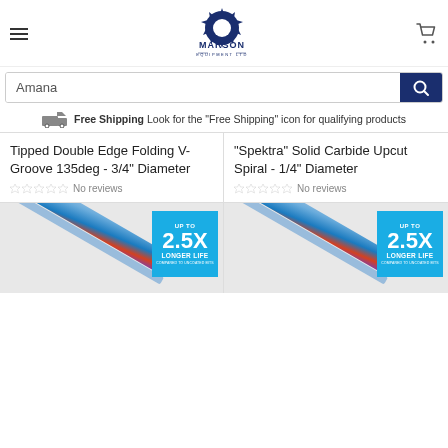[Figure (logo): Marson Equipment Ltd logo with saw blade and company name]
Amana
Free Shipping Look for the "Free Shipping" icon for qualifying products
Tipped Double Edge Folding V-Groove 135deg - 3/4" Diameter
No reviews
"Spektra" Solid Carbide Upcut Spiral - 1/4" Diameter
No reviews
[Figure (photo): Spiral carbide bit with blue coating and 2.5X Longer Life badge]
[Figure (photo): Spiral carbide bit with blue coating and 2.5X Longer Life badge]